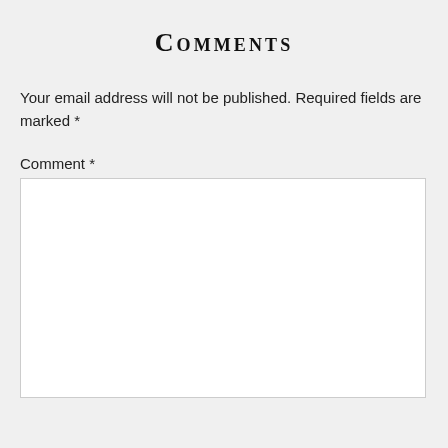Comments
Your email address will not be published. Required fields are marked *
Comment *